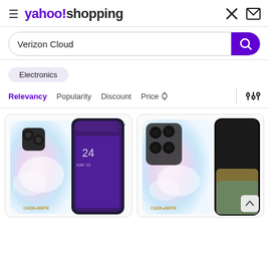yahoo!shopping
Verizon Cloud
Electronics
Relevancy  Popularity  Discount  Price
[Figure (photo): Two phone cases with pastel cloud/watercolor design — one for iPhone (left), one for Samsung Galaxy S22 Ultra (right). Both cases show a pastel pink, blue, white watercolor pattern with a clear back and case-mate branding.]
[Figure (photo): Phone case for Samsung Galaxy S22 Ultra with pastel watercolor cloud design, case-mate branded, pastel pink/blue/white color.]